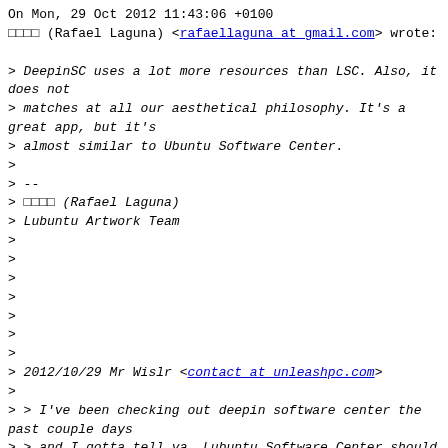On Mon, 29 Oct 2012 11:43:06 +0100
□□□□ (Rafael Laguna) <rafaellaguna at gmail.com> wrote:

> DeepinSC uses a lot more resources than LSC. Also, it does not
> matches at all our aesthetical philosophy. It's a great app, but it's
> almost similar to Ubuntu Software Center.
>
> --
> □□□□ (Rafael Laguna)
> Lubuntu Artwork Team
>
>
>
>
>
>
>
> 2012/10/29 Mr Wislr <contact at unleashpc.com>
>
> > I've been checking out deepin software center the past couple days
> > and I gotta tell ya. Lubuntu Software Center should be replaced by
> > this beauty..
> >
> > Not only is this thing beautiful and feature rich but its also
> > really light. Much lighter than Lubuntu software center by my